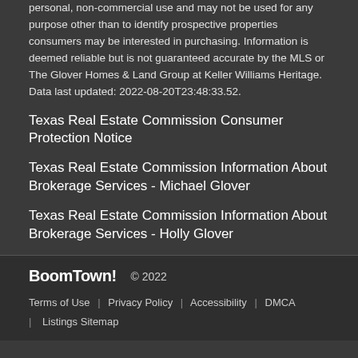personal, non-commercial use and may not be used for any purpose other than to identify prospective properties consumers may be interested in purchasing. Information is deemed reliable but is not guaranteed accurate by the MLS or The Glover Homes & Land Group at Keller Williams Heritage. Data last updated: 2022-08-20T23:48:33.52.
Texas Real Estate Commission Consumer Protection Notice
Texas Real Estate Commission Information About Brokerage Services - Michael Glover
Texas Real Estate Commission Information About Brokerage Services - Holly Glover
BoomTown! © 2022 | Terms of Use | Privacy Policy | Accessibility | DMCA | Listings Sitemap